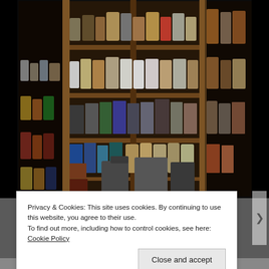[Figure (photo): A well-stocked wooden pantry/larder with multiple shelves filled with glass jars, canisters, food boxes, and pots. The pantry has a central tall shelving unit and side shelves. Items include spices, grains, dry goods in clear jars, cereal boxes, and cookware on the bottom shelf.]
Privacy & Cookies: This site uses cookies. By continuing to use this website, you agree to their use.
To find out more, including how to control cookies, see here: Cookie Policy
Close and accept